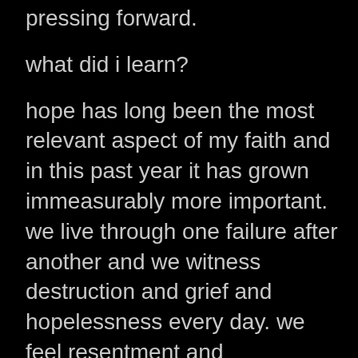most difficult year on record. that in all the pressing forward.
what did i learn?
hope has long been the most relevant aspect of my faith and in this past year it has grown immeasurably more important. we live through one failure after another and we witness destruction and grief and hopelessness every day. we feel resentment and abandonment and imprisonment in different forms. how can we make sense of this? how can we not give up? it is for me only because Christ has overcome the evil and darkness in this world and only because the truth lies in a story of true redemption. the pain we know each day does not have to be a story of